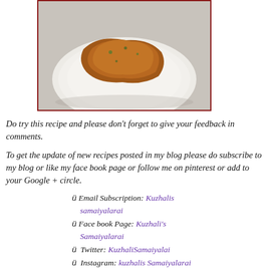[Figure (photo): A plate with food (appears to be bread or flatbread with topping/sauce on a white plate), photographed from above on a light surface.]
Do try this recipe and please don't forget to give your feedback in comments.
To get the update of new recipes posted in my blog please do subscribe to my blog or like my face book page or follow me on pinterest or add to your Google + circle.
ü Email Subscription: Kuzhalis samaiyalarai
ü Face book Page: Kuzhali's Samaiyalarai
ü Twitter: KuzhaliSamaiyalai
ü Instagram: kuzhalis Samaiyalarai
ü Pinterest: kuzhalis samaiyalarai
ü For videos please subscribe: kuzhalis samaiyalarai